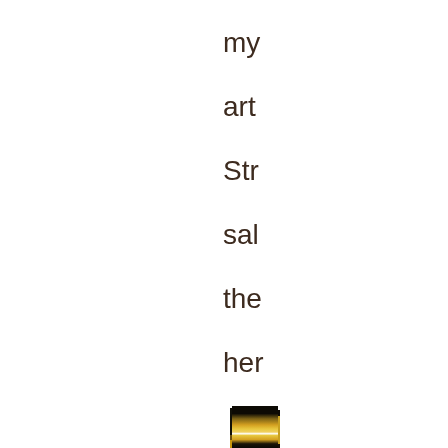my
art
Str
sal
the
her
[Figure (photo): A narrow vertical strip of a photo showing a golden/amber colored object with black areas at top and bottom, and bright light reflections/highlights visible in the middle and lower sections. The strip appears to be a partial view of a curved reflective surface.]